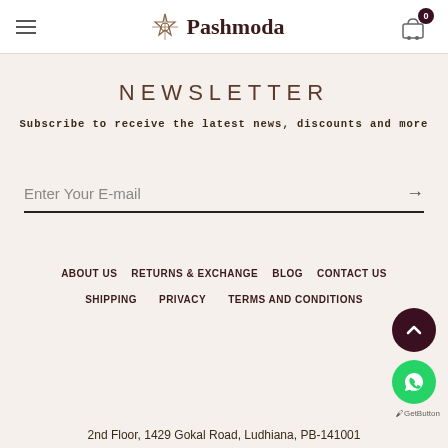Pashmoda
NEWSLETTER
Subscribe to receive the latest news, discounts and more
Enter Your E-mail
ABOUT US   RETURNS & EXCHANGE   BLOG   CONTACT US
SHIPPING   PRIVACY   TERMS AND CONDITIONS
2nd Floor, 1429 Gokal Road, Ludhiana, PB-141001